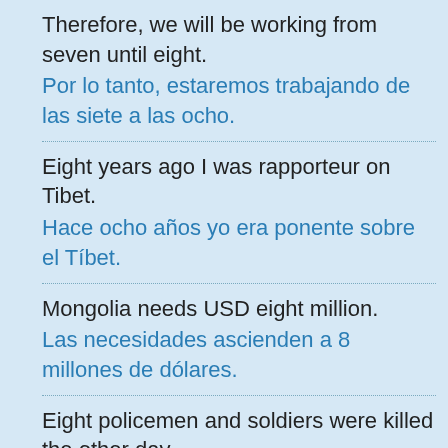Therefore, we will be working from seven until eight.
Por lo tanto, estaremos trabajando de las siete a las ocho.
Eight years ago I was rapporteur on Tibet.
Hace ocho años yo era ponente sobre el Tíbet.
Mongolia needs USD eight million.
Las necesidades ascienden a 8 millones de dólares.
Eight policemen and soldiers were killed the other day.
Ocho policías y militares resultaron muertos el otro día.